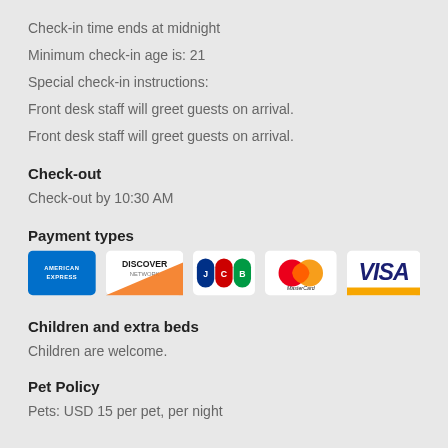Check-in time ends at midnight
Minimum check-in age is: 21
Special check-in instructions:
Front desk staff will greet guests on arrival.
Front desk staff will greet guests on arrival.
Check-out
Check-out by 10:30 AM
Payment types
[Figure (logo): Payment card logos: American Express, Discover Network, JCB, MasterCard, Visa]
Children and extra beds
Children are welcome.
Pet Policy
Pets: USD 15 per pet, per night